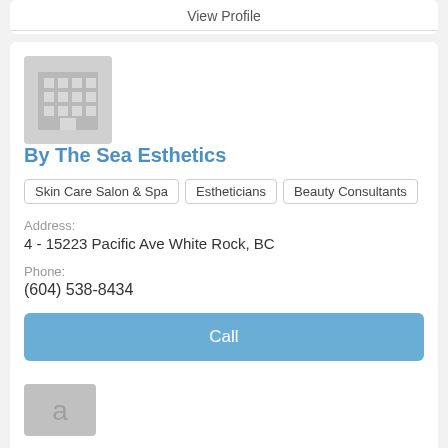View Profile
[Figure (illustration): Building/business placeholder icon in light gray square]
By The Sea Esthetics
Skin Care Salon & Spa
Estheticians
Beauty Consultants
Address:
4 - 15223 Pacific Ave White Rock, BC
Phone:
(604) 538-8434
Call
View Profile
[Figure (illustration): Partial building/business placeholder icon at bottom of page]